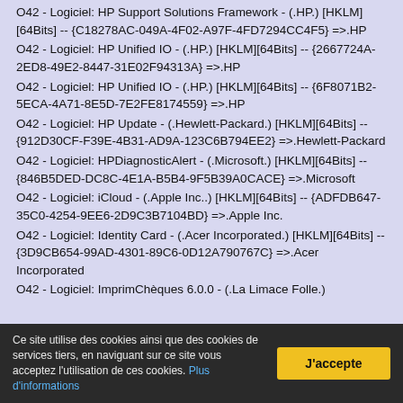O42 - Logiciel: HP Support Solutions Framework - (.HP.) [HKLM][64Bits] -- {C18278AC-049A-4F02-A97F-4FD7294CC4F5} =>.HP
O42 - Logiciel: HP Unified IO - (.HP.) [HKLM][64Bits] -- {2667724A-2ED8-49E2-8447-31E02F94313A} =>.HP
O42 - Logiciel: HP Unified IO - (.HP.) [HKLM][64Bits] -- {6F8071B2-5ECA-4A71-8E5D-7E2FE8174559} =>.HP
O42 - Logiciel: HP Update - (.Hewlett-Packard.) [HKLM][64Bits] -- {912D30CF-F39E-4B31-AD9A-123C6B794EE2} =>.Hewlett-Packard
O42 - Logiciel: HPDiagnosticAlert - (.Microsoft.) [HKLM][64Bits] -- {846B5DED-DC8C-4E1A-B5B4-9F5B39A0CACE} =>.Microsoft
O42 - Logiciel: iCloud - (.Apple Inc..) [HKLM][64Bits] -- {ADFDB647-35C0-4254-9EE6-2D9C3B7104BD} =>.Apple Inc.
O42 - Logiciel: Identity Card - (.Acer Incorporated.) [HKLM][64Bits] -- {3D9CB654-99AD-4301-89C6-0D12A790767C} =>.Acer Incorporated
O42 - Logiciel: ImprimChèques 6.0.0 - (.La Limace Folle.)
Ce site utilise des cookies ainsi que des cookies de services tiers, en naviguant sur ce site vous acceptez l'utilisation de ces cookies. Plus d'informations
J'accepte